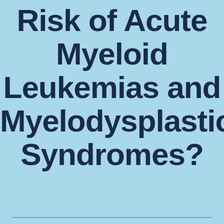Risk of Acute Myeloid Leukemias and Myelodysplastic Syndromes?